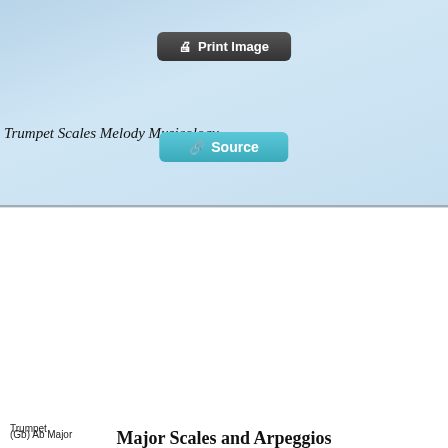[Figure (screenshot): Print Image button - dark rounded button with printer icon]
[Figure (screenshot): Source button - teal/cyan rounded button with external link icon]
Trumpet Scales Melody Musicology
Trumpet
Major Scales and Arpeggios
In Range Order
(E) F# Major
[Figure (other): Music notation staff showing F# Major scale and arpeggios for trumpet, two lines of sheet music]
(F) G Major
[Figure (other): Music notation staff showing G Major scale and arpeggios for trumpet, two lines of sheet music]
(Gb) Ab Major